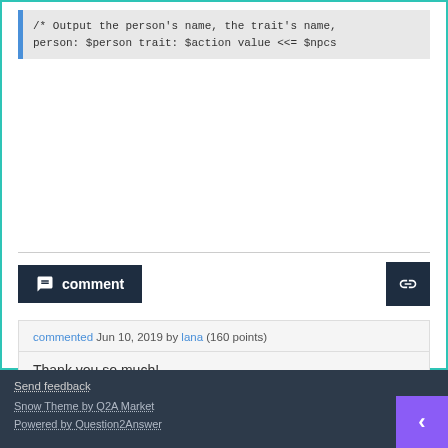/* Output the person's name, the trait's name,
person: $person trait: $action value <<= $npcs
comment
commented Jun 10, 2019 by lana (160 points)
Thank you so much!

Lana.x
Send feedback
Snow Theme by Q2A Market
Powered by Question2Answer